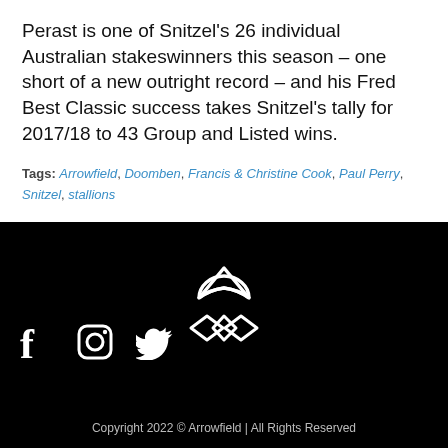Perast is one of Snitzel's 26 individual Australian stakeswinners this season – one short of a new outright record – and his Fred Best Classic success takes Snitzel's tally for 2017/18 to 43 Group and Listed wins.
Tags: Arrowfield, Doomben, Francis & Christine Cook, Paul Perry, Snitzel, stallions
[Figure (logo): Arrowfield logo — white geometric diamond/hat shape on black background]
[Figure (illustration): Social media icons: Facebook (f), Instagram (camera), Twitter (bird) in white on black]
Copyright 2022 © Arrowfield | All Rights Reserved